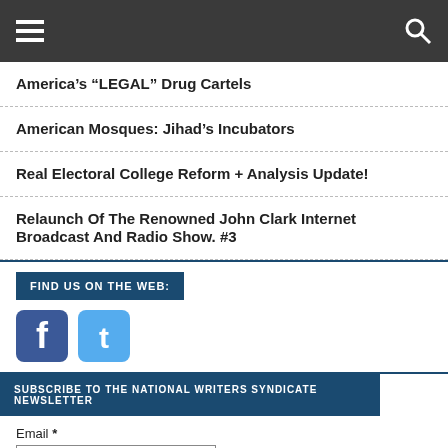Navigation header with hamburger menu and search icon
America’s “LEGAL” Drug Cartels
American Mosques: Jihad’s Incubators
Real Electoral College Reform + Analysis Update!
Relaunch Of The Renowned John Clark Internet Broadcast And Radio Show. #3
FIND US ON THE WEB:
[Figure (logo): Facebook and Twitter social media icons]
SUBSCRIBE TO THE NATIONAL WRITERS SYNDICATE NEWSLETTER
Email *
Subscribe!
GOODIES